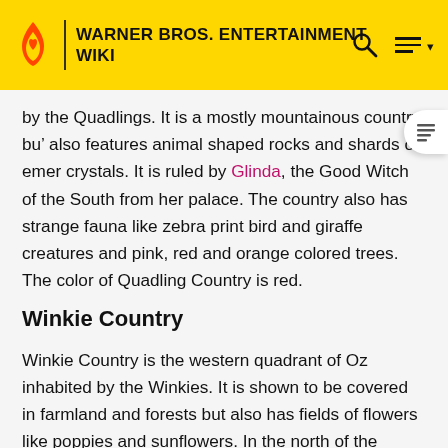WARNER BROS. ENTERTAINMENT WIKI
by the Quadlings. It is a mostly mountainous country, but also features animal shaped rocks and shards of emerald crystals. It is ruled by Glinda, the Good Witch of the South from her palace. The country also has strange fauna like zebra print bird and giraffe creatures and pink, red and orange colored trees. The color of Quadling Country is red.
Winkie Country
Winkie Country is the western quadrant of Oz inhabited by the Winkies. It is shown to be covered in farmland and forests but also has fields of flowers like poppies and sunflowers. In the north of the country there are towering rocky structures. After Theodora was banished from the